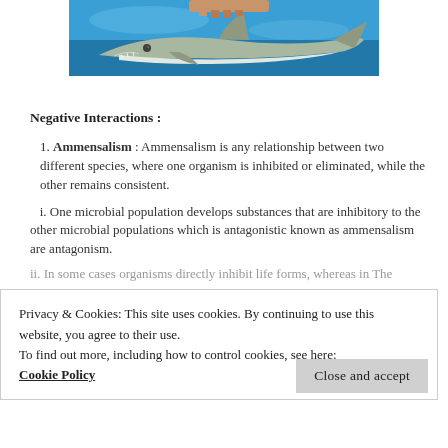[Figure (photo): Underwater photo of a shark swimming, viewed from the side, with blue water background. Only the lower portion of the image is visible — the shark's body and teeth are shown.]
Negative Interactions :
Ammensalism : Ammensalism is any relationship between two different species, where one organism is inhibited or eliminated, while the other remains consistent.
i. One microbial population develops substances that are inhibitory to the other microbial populations which is antagonistic known as ammensalism are antagonism.
Privacy & Cookies: This site uses cookies. By continuing to use this website, you agree to their use.
To find out more, including how to control cookies, see here:
Cookie Policy
Close and accept